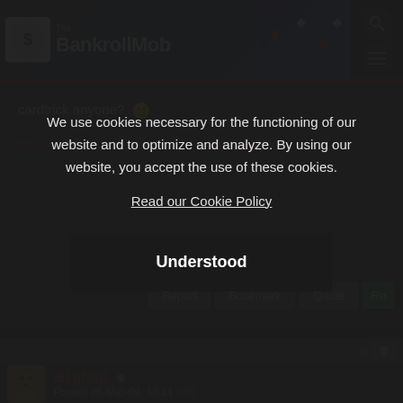The BankrollMob
cardtrick anyone? 🙂
http://www.youtube.com/watch?v=95Gkg0RRr20
Report  Bookmark  Quote  Re
B1gfoot  Posted 26-Mar-09, 18:11  #35
We use cookies necessary for the functioning of our website and to optimize and analyze. By using our website, you accept the use of these cookies.
Read our Cookie Policy
Understood